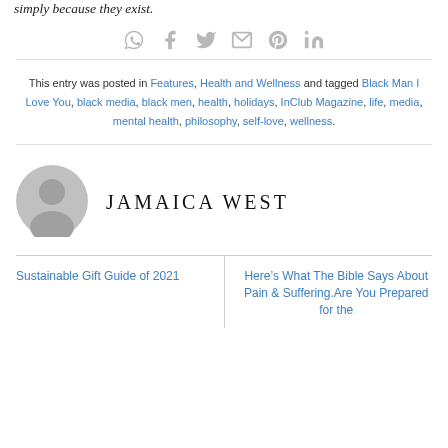simply because they exist.
[Figure (infographic): Social share icons: WhatsApp, Facebook, Twitter, Email, Pinterest, LinkedIn in gray]
This entry was posted in Features, Health and Wellness and tagged Black Man I Love You, black media, black men, health, holidays, InClub Magazine, life, media, mental health, philosophy, self-love, wellness.
[Figure (illustration): Gray circular avatar/profile placeholder icon]
JAMAICA WEST
Sustainable Gift Guide of 2021
Here’s What The Bible Says About Pain & Suffering.Are You Prepared for the